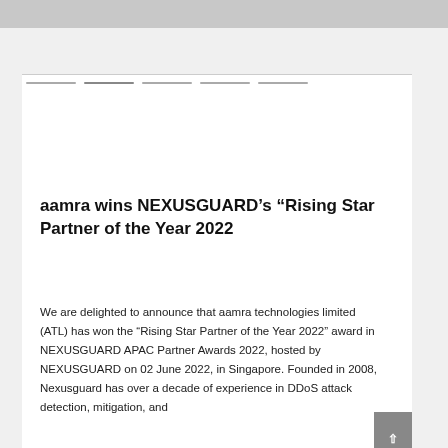aamra wins NEXUSGUARD's “Rising Star Partner of the Year 2022
We are delighted to announce that aamra technologies limited (ATL) has won the “Rising Star Partner of the Year 2022” award in NEXUSGUARD APAC Partner Awards 2022, hosted by NEXUSGUARD on 02 June 2022, in Singapore. Founded in 2008, Nexusguard has over a decade of experience in DDoS attack detection, mitigation, and